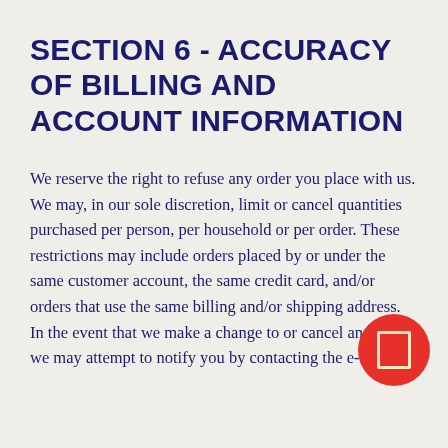SECTION 6 - ACCURACY OF BILLING AND ACCOUNT INFORMATION
We reserve the right to refuse any order you place with us. We may, in our sole discretion, limit or cancel quantities purchased per person, per household or per order. These restrictions may include orders placed by or under the same customer account, the same credit card, and/or orders that use the same billing and/or shipping address. In the event that we make a change to or cancel an order, we may attempt to notify you by contacting the e-mail